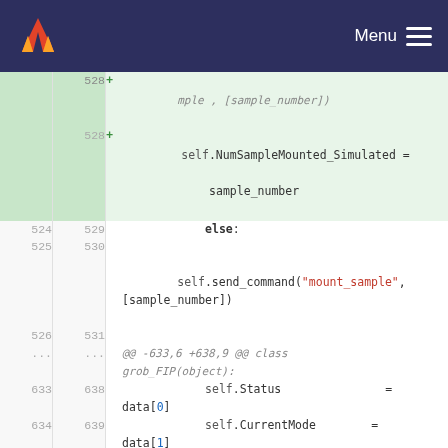GitLab navigation with logo and Menu button
Code diff view showing Python source changes. Lines 524-642 visible. Added lines: 528 (self.NumSampleMounted_Simulated = sample_number), 641 (if self.SIMU:), 642 (self.NumSampleMounted = self.NumSampleMounted_Simulated). Context lines show else:, self.send_command, self.Status, self.CurrentMode, self.GrobIsInit assignments. Hunk header @@ -633,6 +638,9 @@ class grob_FIP(object):